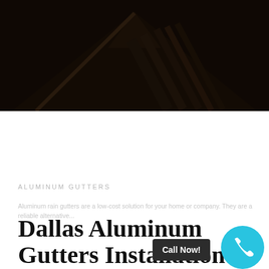[Figure (photo): Dark overhead photo of a house roofline with gutters visible against a dark background]
ALUMINUM GUTTERS
Aluminum rain gutters are a low-cost solution for your home or company. They are a reliable alternative...
Dallas Aluminum Gutters Installation R...
Call Now!